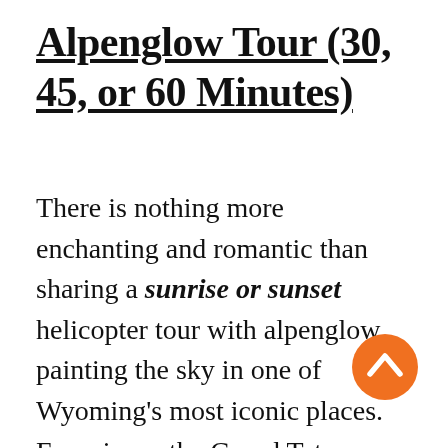Alpenglow Tour (30, 45, or 60 Minutes)
There is nothing more enchanting and romantic than sharing a sunrise or sunset helicopter tour with alpenglow painting the sky in one of Wyoming's most iconic places. Experience the Grand Teton Mountain Range and valley floor near Jackson Hole, WY from the privacy of your helicopter.